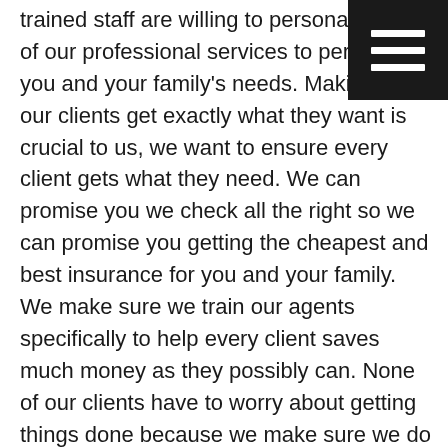trained staff are willing to personalize all of our professional services to perfectly fit you and your family's needs. Making sure our clients get exactly what they want is crucial to us, we want to ensure every client gets what they need. We can promise you we check all the right so we can promise you getting the cheapest and best insurance for you and your family. We make sure we train our agents specifically to help every client saves much money as they possibly can. None of our clients have to worry about getting things done because we make sure we do our research and get the perfect fitting plan for you and your family.
call us at (918) 576-7000 so we can answer any questions you may have about the services we can offer you and your family. You can promise you that there are two sure we go above and beyond every one of her clients expectations. We want to make